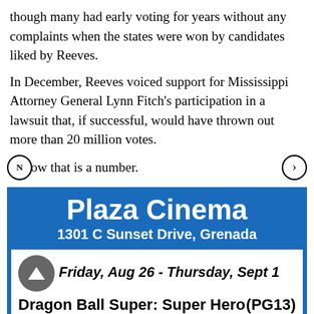though many had early voting for years without any complaints when the states were won by candidates liked by Reeves.
In December, Reeves voiced support for Mississippi Attorney General Lynn Fitch’s participation in a lawsuit that, if successful, would have thrown out more than 20 million votes.
Now that is a number.
[Figure (infographic): Plaza Cinema advertisement. Blue background with white bold text: 'Plaza Cinema', '1301 C Sunset Drive, Grenada'. White inner box with: 'Friday, Aug 26 - Thursday, Sept 1' in bold italic, 'Dragon Ball Super: Super Hero   (PG13)' in bold.]